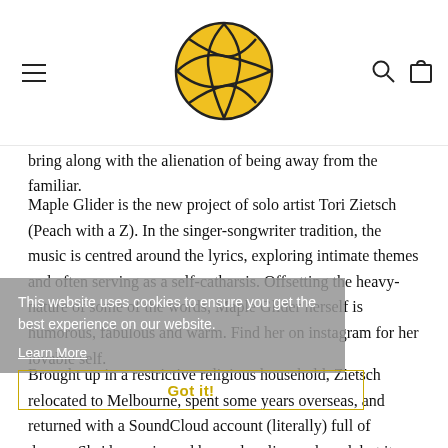[Navigation header with hamburger menu, logo, search and cart icons]
bring along with the alienation of being away from the familiar.
Maple Glider is the new project of solo artist Tori Zietsch (Peach with a Z). In the singer-songwriter tradition, the music is centred around the lyrics, exploring intimate themes and often serving as a self-catharsis. Offsetting the heavy-nature of some of the words, Maple Glider herself is humorous, fabulous and warm. Find her on instagram for her lovable self.
Brought up in a restrictive religious household, Zietsch relocated to Melbourne, spent some years overseas, and returned with a SoundCloud account (literally) full of demos. She'd experienced heavy loneliness abroad, but it was during that time that she entered a pool of self-reflection. The resulting songs relate to working through her experience as a child raised in religion, and
This website uses cookies to ensure you get the best experience on our website.
Learn More
Got it!